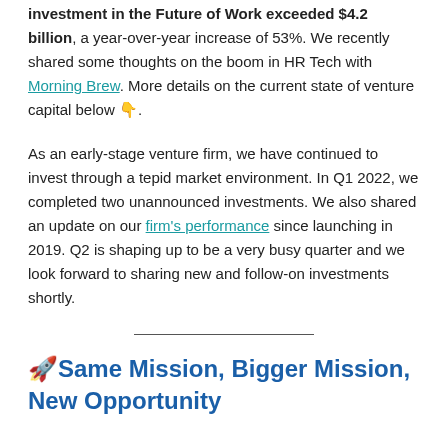investment in the Future of Work exceeded $4.2 billion, a year-over-year increase of 53%.  We recently shared some thoughts on the boom in HR Tech with Morning Brew.  More details on the current state of venture capital below 👇.
As an early-stage venture firm, we have continued to invest through a tepid market environment.  In Q1 2022, we completed two unannounced investments.  We also shared an update on our firm's performance since launching in 2019.  Q2 is shaping up to be a very busy quarter and we look forward to sharing new and follow-on investments shortly.
🚀Same Mission, Bigger Mission, New Opportunity